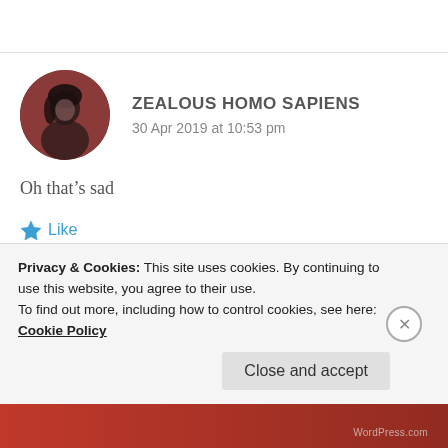[Figure (photo): Circular avatar of a person with dark hair against a dark reddish-brown background]
ZEALOUS HOMO SAPIENS
30 Apr 2019 at 10:53 pm
Oh that’s sad
★ Like
Privacy & Cookies: This site uses cookies. By continuing to use this website, you agree to their use.
To find out more, including how to control cookies, see here: Cookie Policy
Close and accept